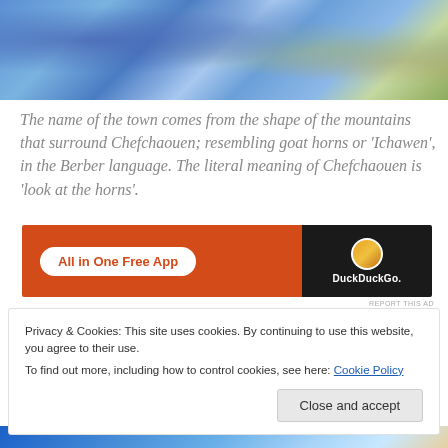[Figure (photo): Aerial/elevated view of Chefchaouen, Morocco, showing blue buildings and surrounding green hillside vegetation]
The name of the town comes from the shape of the mountains that surround Chefchaouen; resembling goat horns or 'Ichawen', in the Berber language. The literal meaning of Chefchaouen is 'look at the horns'.
[Figure (screenshot): DuckDuckGo advertisement banner: orange section with white pill button reading 'All in One Free App', dark section with DuckDuckGo logo and text]
REPORT THIS AD
Privacy & Cookies: This site uses cookies. By continuing to use this website, you agree to their use.
To find out more, including how to control cookies, see here: Cookie Policy
[Figure (photo): Partial view of another image at the bottom of the page, appears to be a blue-toned photograph]